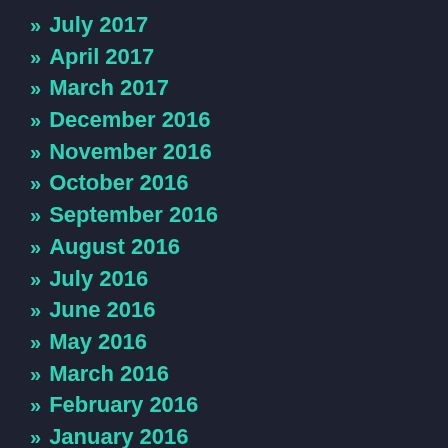» July 2017
» April 2017
» March 2017
» December 2016
» November 2016
» October 2016
» September 2016
» August 2016
» July 2016
» June 2016
» May 2016
» March 2016
» February 2016
» January 2016